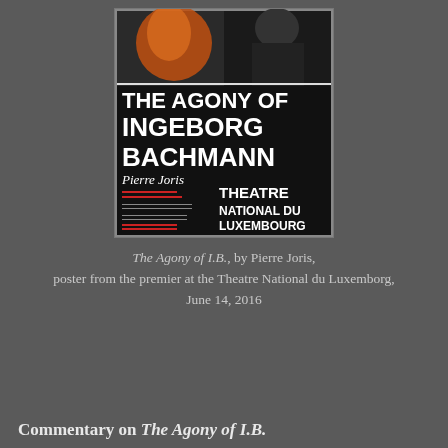[Figure (photo): Theatre poster for 'The Agony of Ingeborg Bachmann' by Pierre Joris, showing text on black background with photographic elements at top. Includes Theatre National du Luxembourg branding. Premier June 14, 2016.]
The Agony of I.B., by Pierre Joris, poster from the premier at the Theatre National du Luxemborg, June 14, 2016
Commentary on The Agony of I.B.